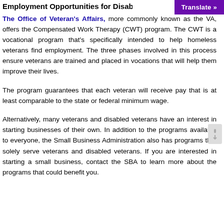Employment Opportunities for Disabl…
The Office of Veteran's Affairs, more commonly known as the VA, offers the Compensated Work Therapy (CWT) program. The CWT is a vocational program that's specifically intended to help homeless veterans find employment. The three phases involved in this process ensure veterans are trained and placed in vocations that will help them improve their lives.
The program guarantees that each veteran will receive pay that is at least comparable to the state or federal minimum wage.
Alternatively, many veterans and disabled veterans have an interest in starting businesses of their own. In addition to the programs available to everyone, the Small Business Administration also has programs that solely serve veterans and disabled veterans. If you are interested in starting a small business, contact the SBA to learn more about the programs that could benefit you.